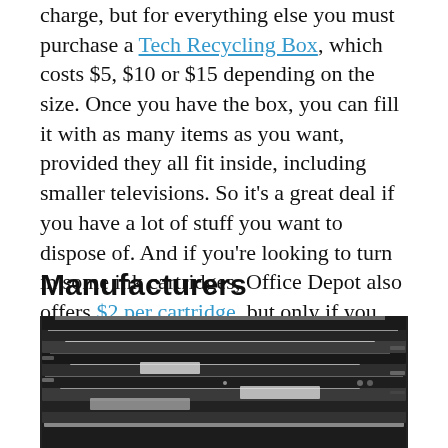charge, but for everything else you must purchase a Tech Recycling Box, which costs $5, $10 or $15 depending on the size. Once you have the box, you can fill it with as many items as you want, provided they all fit inside, including smaller televisions. So it's a great deal if you have a lot of stuff you want to dispose of. And if you're looking to turn in some ink cartridges, Office Depot also offers $2 per cartridge, but only if you make a purchase of $10 or more in the same month.
Manufacturers
[Figure (photo): A large stack of old laptops and electronic devices piled on top of each other, showing various brands and models in black and silver colors.]